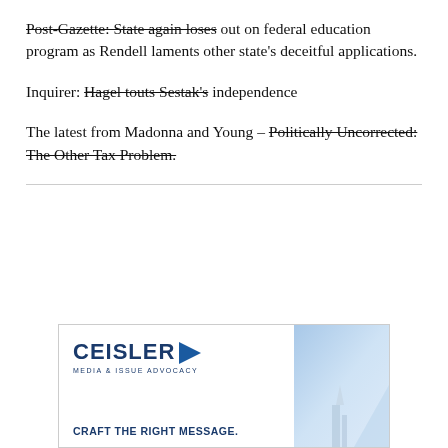Post-Gazette: State again loses out on federal education program as Rendell laments other state's deceitful applications.
Inquirer: Hagel touts Sestak's independence
The latest from Madonna and Young – Politically Uncorrected: The Other Tax Problem.
[Figure (other): Advertisement for Ceisler Media & Issue Advocacy with logo, navy blue arrow, and tagline 'CRAFT THE RIGHT MESSAGE.' with a sky/building background image on the right side.]